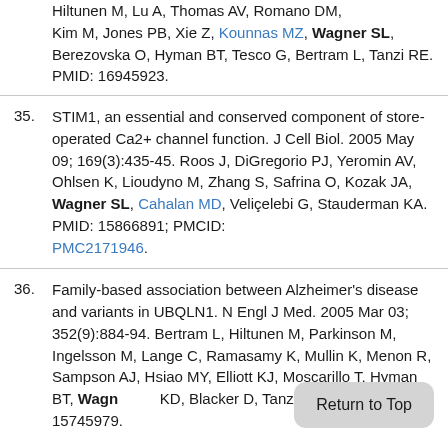Hiltunen M, Lu A, Thomas AV, Romano DM, Kim M, Jones PB, Xie Z, Kounnas MZ, Wagner SL, Berezovska O, Hyman BT, Tesco G, Bertram L, Tanzi RE. PMID: 16945923.
35. STIM1, an essential and conserved component of store-operated Ca2+ channel function. J Cell Biol. 2005 May 09; 169(3):435-45. Roos J, DiGregorio PJ, Yeromin AV, Ohlsen K, Lioudyno M, Zhang S, Safrina O, Kozak JA, Wagner SL, Cahalan MD, Veliçelebi G, Stauderman KA. PMID: 15866891; PMCID: PMC2171946.
36. Family-based association between Alzheimer's disease and variants in UBQLN1. N Engl J Med. 2005 Mar 03; 352(9):884-94. Bertram L, Hiltunen M, Parkinson M, Ingelsson M, Lange C, Ramasamy K, Mullin K, Menon R, Sampson AJ, Hsiao MY, Elliott KJ, Moscarillo T, Hyman BT, Wagner... KD, Blacker D, Tanzi RE. PMID: 15745979.